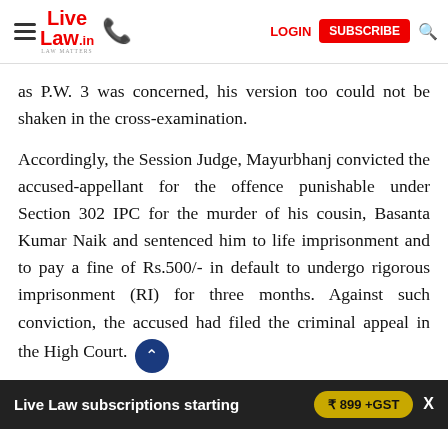Live Law | LOGIN | SUBSCRIBE
as P.W. 3 was concerned, his version too could not be shaken in the cross-examination.
Accordingly, the Session Judge, Mayurbhanj convicted the accused-appellant for the offence punishable under Section 302 IPC for the murder of his cousin, Basanta Kumar Naik and sentenced him to life imprisonment and to pay a fine of Rs.500/- in default to undergo rigorous imprisonment (RI) for three months. Against such conviction, the accused had filed the criminal appeal in the High Court.
Live Law subscriptions starting ₹ 899 +GST X
of the offence being one of culpable homicide not amounting to murder. Reliance was placed on the